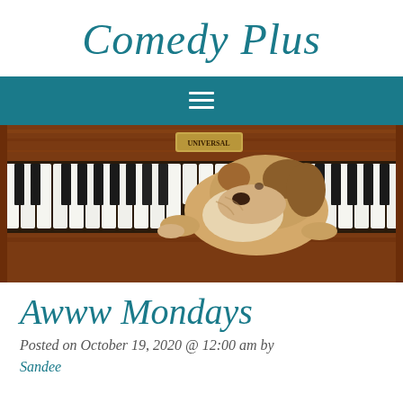Comedy Plus
[Figure (other): Navigation bar with hamburger menu icon on teal/dark cyan background]
[Figure (photo): A puppy with its head resting on piano keys of an upright piano labeled 'Universal', with its paws reaching up to the keys]
Awww Mondays
Posted on October 19, 2020 @ 12:00 am by Sandee